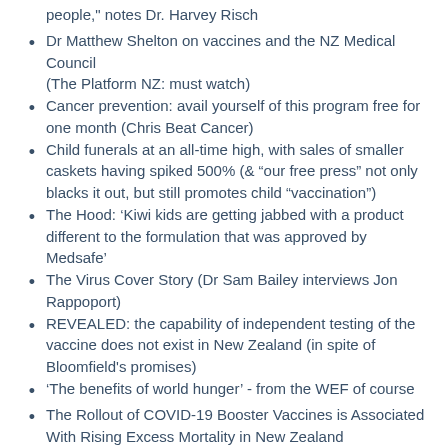people," notes Dr. Harvey Risch
Dr Matthew Shelton on vaccines and the NZ Medical Council (The Platform NZ: must watch)
Cancer prevention: avail yourself of this program free for one month (Chris Beat Cancer)
Child funerals at an all-time high, with sales of smaller caskets having spiked 500% (& “our free press” not only blacks it out, but still promotes child “vaccination”)
The Hood: ‘Kiwi kids are getting jabbed with a product different to the formulation that was approved by Medsafe’
The Virus Cover Story (Dr Sam Bailey interviews Jon Rappoport)
REVEALED: the capability of independent testing of the vaccine does not exist in New Zealand (in spite of Bloomfield's promises)
'The benefits of world hunger' - from the WEF of course
The Rollout of COVID-19 Booster Vaccines is Associated With Rising Excess Mortality in New Zealand